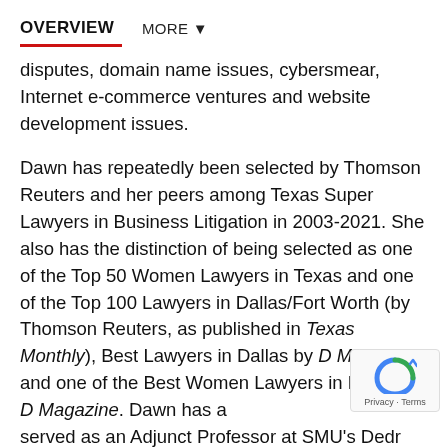OVERVIEW   MORE ▼
disputes, domain name issues, cybersmear, Internet e-commerce ventures and website development issues.
Dawn has repeatedly been selected by Thomson Reuters and her peers among Texas Super Lawyers in Business Litigation in 2003-2021. She also has the distinction of being selected as one of the Top 50 Women Lawyers in Texas and one of the Top 100 Lawyers in Dallas/Fort Worth (by Thomson Reuters, as published in Texas Monthly), Best Lawyers in Dallas by D Magazine, and one of the Best Women Lawyers in Dallas by D Magazine. Dawn has also served as an Adjunct Professor at SMU's Dedman School of Law.